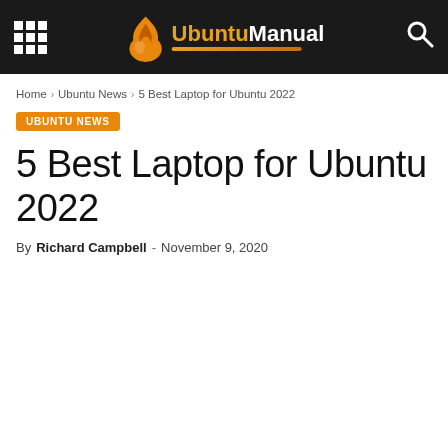UbuntuManual — navigation header with grid icon, logo, and search icon
Home › Ubuntu News › 5 Best Laptop for Ubuntu 2022
UBUNTU NEWS
5 Best Laptop for Ubuntu 2022
By Richard Campbell - November 9, 2020